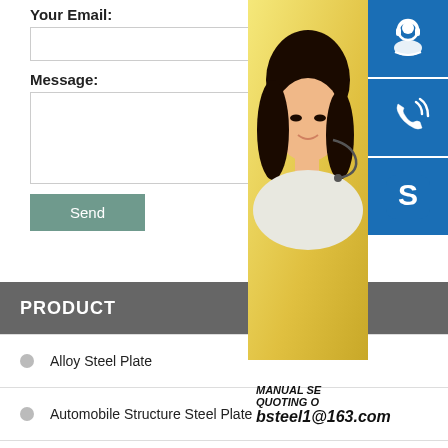Your Email:
Message:
Send
PRODUCT
Alloy Steel Plate
Automobile Structure Steel Plate
Boiler And Pressure Vessel Steel Plate
Carbon And Low Alloy High Strength Steel Plate
[Figure (photo): Customer service representative - woman with headset smiling]
MANUAL SE... QUOTING O... bsteel1@163.com